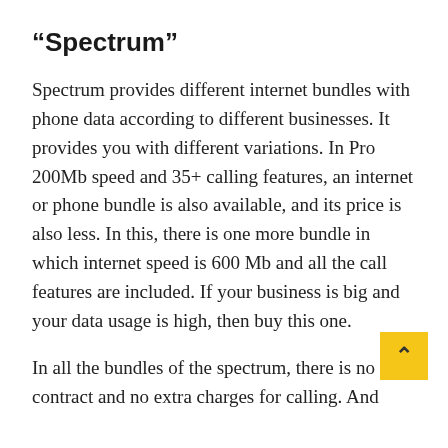“Spectrum”
Spectrum provides different internet bundles with phone data according to different businesses. It provides you with different variations. In Pro 200Mb speed and 35+ calling features, an internet or phone bundle is also available, and its price is also less. In this, there is one more bundle in which internet speed is 600 Mb and all the call features are included. If your business is big and your data usage is high, then buy this one.
In all the bundles of the spectrum, there is no contract and no extra charges for calling. And